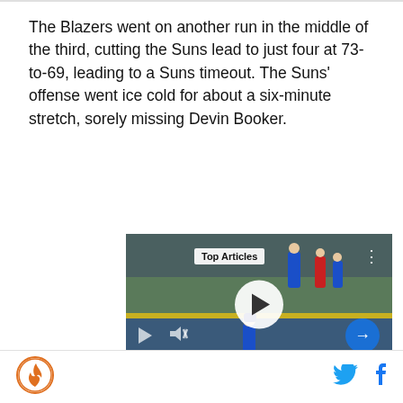The Blazers went on another run in the middle of the third, cutting the Suns lead to just four at 73-to-69, leading to a Suns timeout. The Suns' offense went ice cold for about a six-minute stretch, sorely missing Devin Booker.
[Figure (screenshot): Video player showing a baseball outfield scene. Overlays include a 'Top Articles' badge, a large white play button circle in the center, playback controls at the bottom left, a blue arrow button at the bottom right, and a caption bar reading 'Rangers relievers hilariously scurried away after getting']
SB Nation logo | Twitter icon | Facebook icon